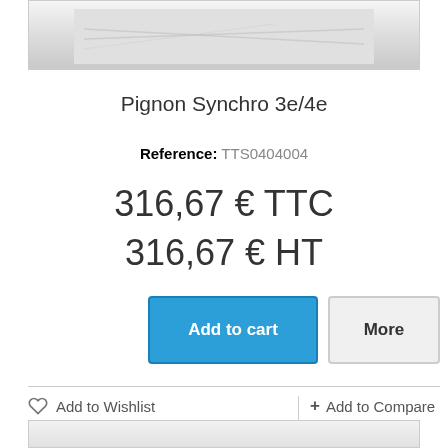[Figure (photo): Product photo of Pignon Synchro 3e/4e part, showing a mechanical gear/synchro component on a light background]
Pignon Synchro 3e/4e
Reference: TTS0404004
316,67 € TTC
316,67 € HT
Add to cart
More
Add to Wishlist
+ Add to Compare
[Figure (photo): Bottom product photo partially visible, showing another mechanical part]